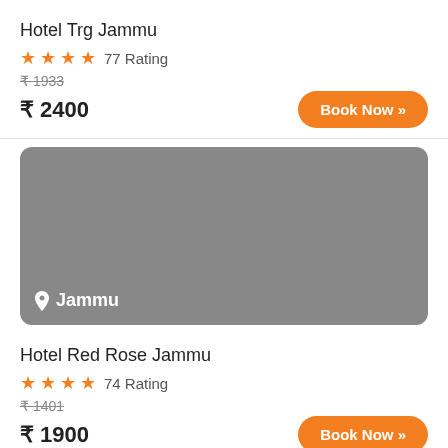Hotel Trg Jammu
★★★★ 77 Rating
₹1933 (strikethrough), ₹ 2400
[Figure (photo): Hotel image placeholder — grey rectangle with location label 'Jammu' at bottom left]
Hotel Red Rose Jammu
★★★★ 74 Rating
₹1401 (strikethrough), ₹ 1900